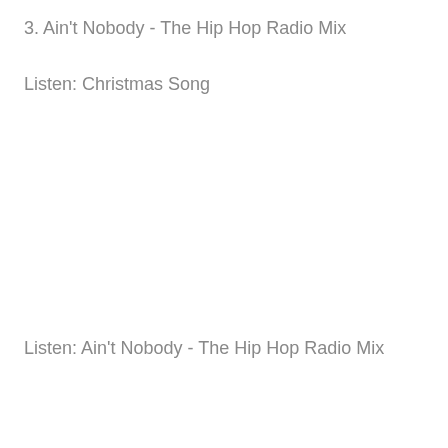3. Ain't Nobody - The Hip Hop Radio Mix
Listen: Christmas Song
Listen: Ain't Nobody - The Hip Hop Radio Mix